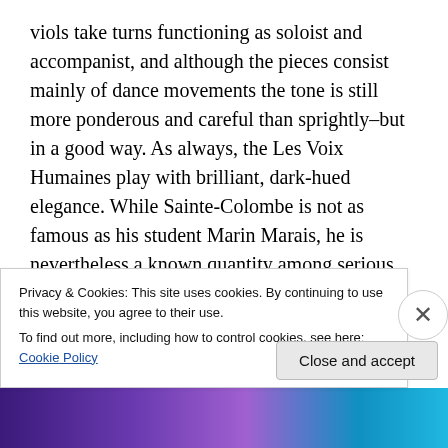viols take turns functioning as soloist and accompanist, and although the pieces consist mainly of dance movements the tone is still more ponderous and careful than sprightly–but in a good way. As always, the Les Voix Humaines play with brilliant, dark-hued elegance. While Sainte-Colombe is not as famous as his student Marin Marais, he is nevertheless a known quantity among serious fans of early music; Leonora Duarte is a different matter. A Jewish convert to Catholicism living in 17th-century Antwerp, she is the only known woman composer of viol music in that century. All that has survived of her
Privacy & Cookies: This site uses cookies. By continuing to use this website, you agree to their use.
To find out more, including how to control cookies, see here: Cookie Policy